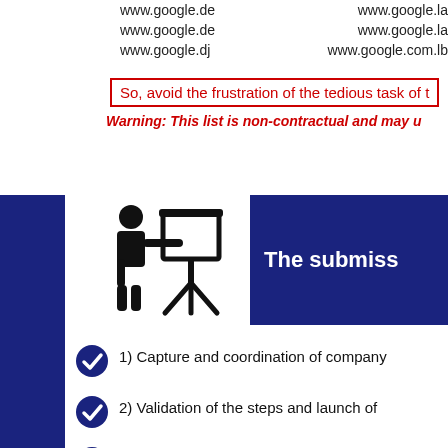www.google.de    www.google.la
www.google.de    www.google.la
www.google.dj    www.google.com.lb
So, avoid the frustration of the tedious task of t…
Warning: This list is non-contractual and may u…
[Figure (illustration): Black silhouette icon of a person presenting at a whiteboard/easel on a tripod]
The submiss…
1) Capture and coordination of company…
2) Validation of the steps and launch of…
3) Receive an email with the report of th…